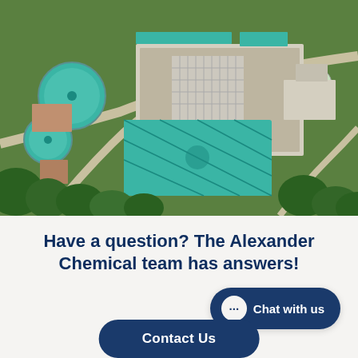[Figure (photo): Aerial view of a large water/wastewater treatment facility with multiple circular clarifiers and rectangular treatment pools filled with aqua-colored water, surrounded by green trees and landscaping, with roads and parking areas visible.]
Have a question? The Alexander Chemical team has answers!
Chat with us
Contact Us